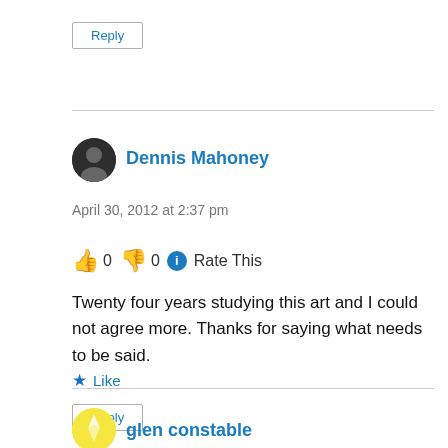Reply
Dennis Mahoney
April 30, 2012 at 2:37 pm
👍 0 👎 0 ℹ Rate This
Twenty four years studying this art and I could not agree more. Thanks for saying what needs to be said.
★ Like
Reply
glen constable